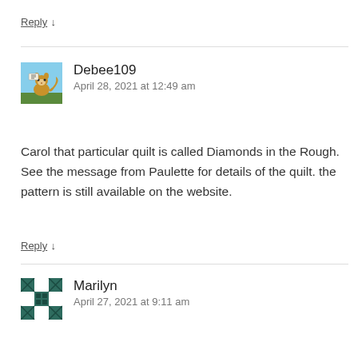Reply ↓
Debee109
April 28, 2021 at 12:49 am
Carol that particular quilt is called Diamonds in the Rough. See the message from Paulette for details of the quilt. the pattern is still available on the website.
Reply ↓
Marilyn
April 27, 2021 at 9:11 am